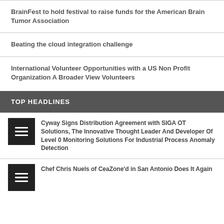BrainFest to hold festival to raise funds for the American Brain Tumor Association
Beating the cloud integration challenge
International Volunteer Opportunities with a US Non Profit Organization A Broader View Volunteers
TOP HEADLINES
Cyway Signs Distribution Agreement with SIGA OT Solutions, The Innovative Thought Leader And Developer Of Level 0 Monitoring Solutions For Industrial Process Anomaly Detection
Chef Chris Nuels of CeaZone'd in San Antonio Does It Again